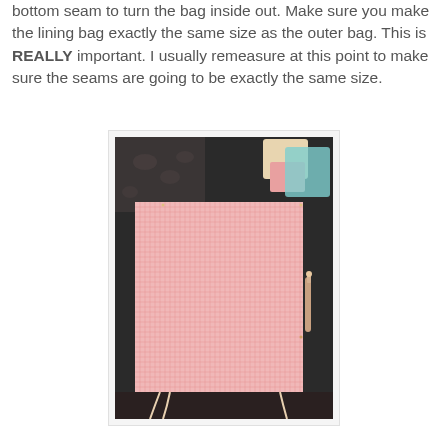bottom seam to turn the bag inside out. Make sure you make the lining bag exactly the same size as the outer bag. This is REALLY important. I usually remeasure at this point to make sure the seams are going to be exactly the same size.
[Figure (photo): A pink gingham/checkered fabric piece laid flat on a dark table surface. The fabric appears to be a lining bag piece. Various other fabric pieces are visible in the background corners. A seam ripper or similar sewing tool is visible on the right side.]